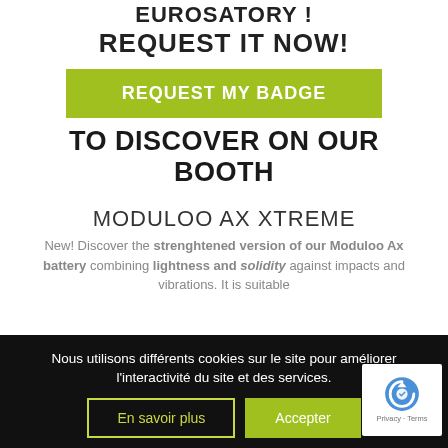EUROSATORY ! REQUEST IT NOW!
[Figure (other): Green button reading REQUEST MY BADGE]
TO DISCOVER ON OUR BOOTH
MODULOO AX XTREME
New! Discover the strenghtened version of our Moduloo Ax battery combining lightness and solidity against impacts and vibrations. It is suitable
Nous utilisons différents cookies sur le site pour améliorer l'interactivité du site et des services.
En savoir plus   Accepter